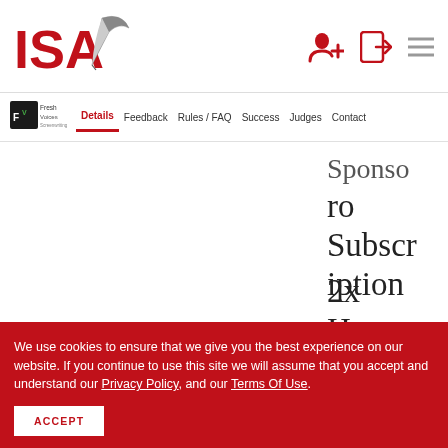[Figure (logo): ISA logo with red text 'ISA' and grey quill pen graphic]
[Figure (logo): Fresh Voices logo - small icon with text]
Details Feedback Rules / FAQ Success Judges Contact
Sponso ro Subscription
2x Honorable Mentio
We use cookies to ensure that we give you the best experience on our website. If you continue to use this site we will assume that you accept and understand our Privacy Policy, and our Terms Of Use.
ACCEPT